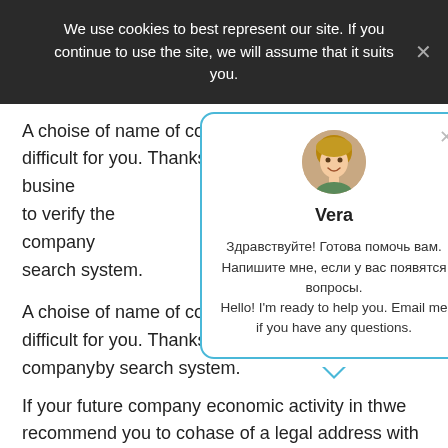We use cookies to best represent our site. If you continue to use the site, we will assume that it suits you.
A choise of name of company will not be very difficult for you. Thanks to business... to verify the company... by search system.
If your future company... economic activity in th... we recommend you to co... hase of a legal address with... because in this case there is no need for a real office and buying a telephone line.
[Figure (screenshot): Chat popup with avatar of Vera showing greeting message in Russian and English]
It should also be noted that the Hong Kong banking system is one of the largest and most reliable in the world. We strongly recommend that you open an account in this